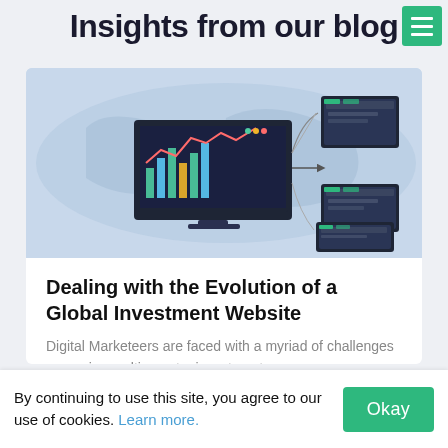Insights from our blog
[Figure (illustration): Dashboard analytics screen connected to multiple browser window icons via arrows, set against a world map background — representing a global investment website management workflow]
Dealing with the Evolution of a Global Investment Website
Digital Marketeers are faced with a myriad of challenges managing multi-country investment
August 24, 2022
By continuing to use this site, you agree to our use of cookies. Learn more.
Okay